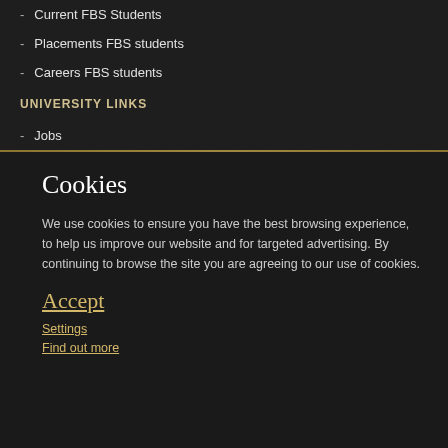- Current FBS Students
- Placements FBS students
- Careers FBS students
UNIVERSITY LINKS
- Jobs
Cookies
We use cookies to ensure you have the best browsing experience, to help us improve our website and for targeted advertising. By continuing to browse the site you are agreeing to our use of cookies.
Accept
Settings
Find out more